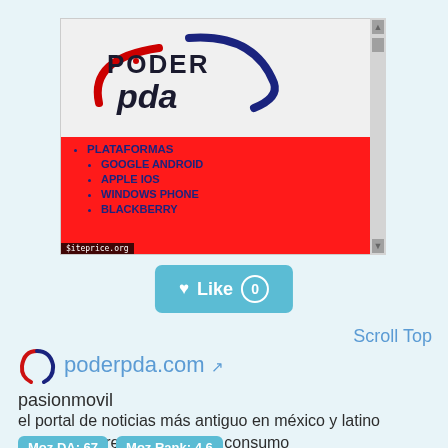[Figure (screenshot): Screenshot of poderpda.com website showing the PODER pda logo on a light gray background, and a red navigation menu with items: PLATAFORMAS, GOOGLE ANDROID, APPLE IOS, WINDOWS PHONE, BLACKBERRY. A siteprice.org watermark is visible at the bottom left.]
[Figure (other): Teal/blue Like button with heart icon and count of 0]
Scroll Top
[Figure (logo): poderpda.com circular logo icon in red and blue]
poderpda.com
pasionmovil
el portal de noticias más antiguo en méxico y latino américa sobre tecnología de consumo
Moz DA: 67  Moz Rank: 4.6